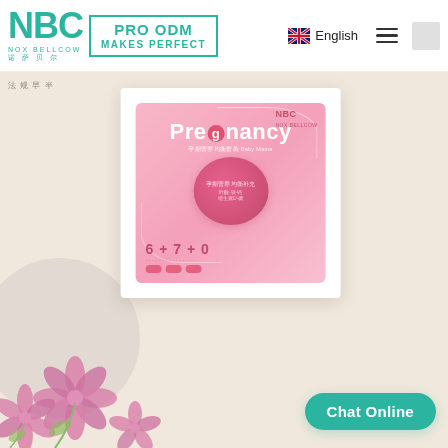NBC NOX BELLCOW 诺萨贝尔 | PRO ODM MAKES PERFECT | English
[Figure (photo): NBC Pregnancy product package on beige background with pink flowers, showing 'Pregnancy' text and Chinese characters, with NBC logo. Center pink circle with text. Bottom shows 6+7+0 formula.]
Chat Online